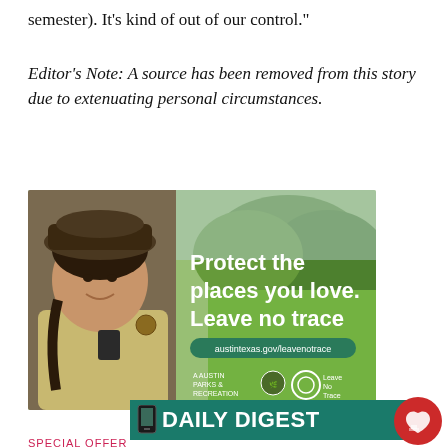semester). It’s kind of out of our control.”
Editor’s Note: A source has been removed from this story due to extenuating personal circumstances.
[Figure (photo): Advertisement showing a park ranger in uniform smiling outdoors with text: Protect the places you love. Leave no trace. austintexas.gov/leavenotrace. Logos for Austin Parks & Recreation and Leave No Trace.]
×
DAILY DIGEST
SPECIAL OFFER